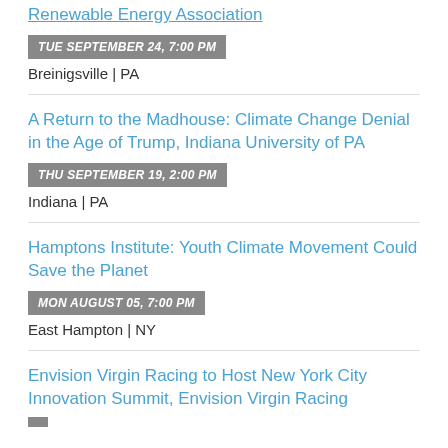Renewable Energy Association
TUE SEPTEMBER 24, 7:00 PM
Breinigsville | PA
A Return to the Madhouse: Climate Change Denial in the Age of Trump, Indiana University of PA
THU SEPTEMBER 19, 2:00 PM
Indiana | PA
Hamptons Institute: Youth Climate Movement Could Save the Planet
MON AUGUST 05, 7:00 PM
East Hampton | NY
Envision Virgin Racing to Host New York City Innovation Summit, Envision Virgin Racing